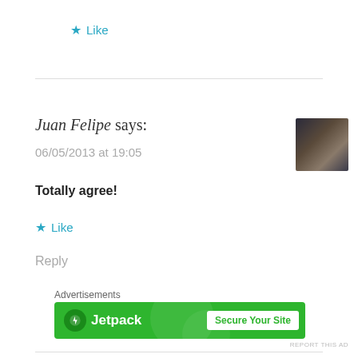★ Like
Juan Felipe says:
06/05/2013 at 19:05
Totally agree!
★ Like
Reply
Advertisements
[Figure (photo): Avatar photo of a man with glasses]
[Figure (infographic): Jetpack advertisement banner with green background, Jetpack logo, and 'Secure Your Site' button]